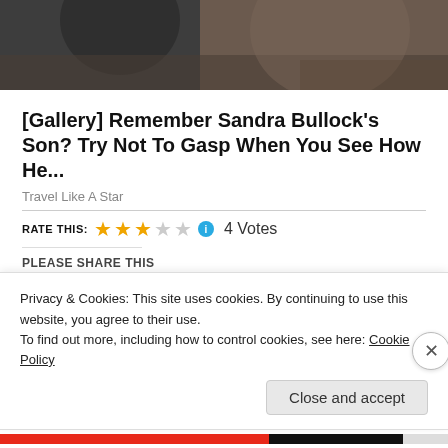[Figure (photo): Top portion of a photo showing two people, partially cropped]
[Gallery] Remember Sandra Bullock's Son? Try Not To Gasp When You See How He...
Travel Like A Star
RATE THIS: ★★★☆☆ ℹ 4 Votes
PLEASE SHARE THIS
Share Post Tweet Save Email Print
Privacy & Cookies: This site uses cookies. By continuing to use this website, you agree to their use. To find out more, including how to control cookies, see here: Cookie Policy
Close and accept